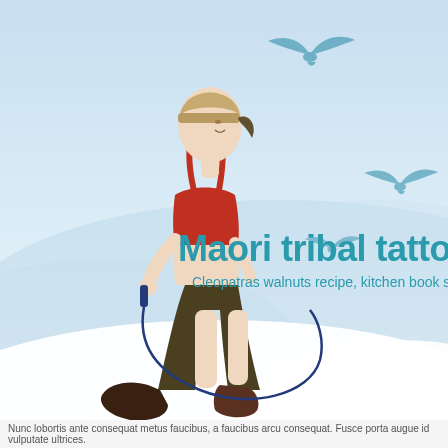[Figure (illustration): Illustration of a woman in athletic wear (red sports top, dark shorts, sneakers, cap) jumping rope against a light blue sky background with blue bird silhouettes flying. The scene has soft white/blue cloud-like hills.]
Maori tribal tatto
Cleopatras walnuts recipe, kitchen book shelf.
Nunc lobortis ante consequat metus faucibus...